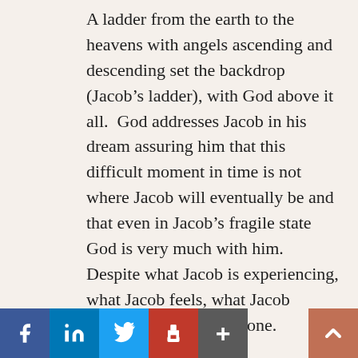A ladder from the earth to the heavens with angels ascending and descending set the backdrop (Jacob's ladder), with God above it all.  God addresses Jacob in his dream assuring him that this difficult moment in time is not where Jacob will eventually be and that even in Jacob's fragile state God is very much with him.  Despite what Jacob is experiencing, what Jacob feels, what Jacob thinks...Jacob is not alone.

Jacob awakes and sees himself in the same lowly spot where he fell asleep, but now the world looks very different.  From the depths of despair to an elevated sense of
[Figure (other): Social sharing bar with Facebook, LinkedIn, Twitter, Print, and Add buttons, plus a scroll-to-top button]